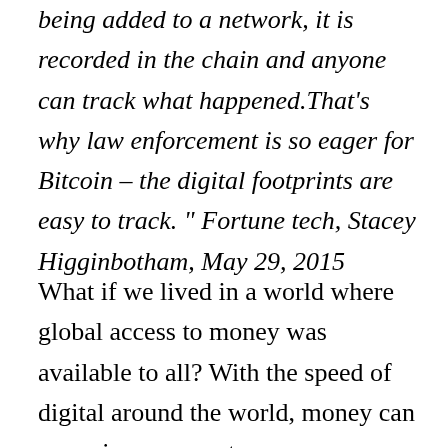being added to a network, it is recorded in the chain and anyone can track what happened.That's why law enforcement is so eager for Bitcoin – the digital footprints are easy to track. " Fortune tech, Stacey Higginbotham, May 29, 2015
What if we lived in a world where global access to money was available to all? With the speed of digital around the world, money can zoom in as a peer-to-peer decentralized